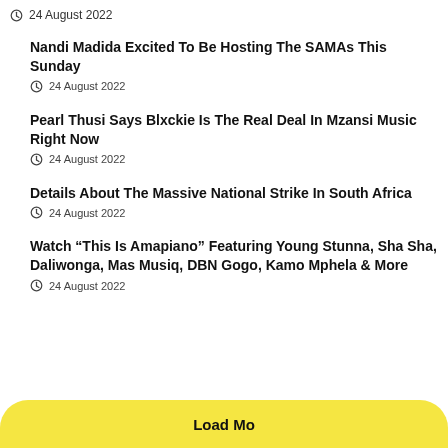24 August 2022
Nandi Madida Excited To Be Hosting The SAMAs This Sunday
24 August 2022
Pearl Thusi Says Blxckie Is The Real Deal In Mzansi Music Right Now
24 August 2022
Details About The Massive National Strike In South Africa
24 August 2022
Watch “This Is Amapiano” Featuring Young Stunna, Sha Sha, Daliwonga, Mas Musiq, DBN Gogo, Kamo Mphela & More
24 August 2022
Load More